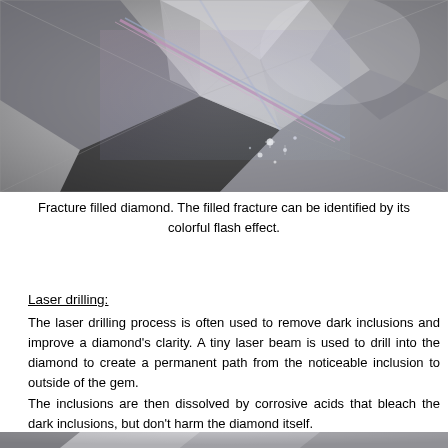[Figure (photo): Close-up macro photograph of a fracture filled diamond showing colorful flash effect from the filled fracture, with visible inclusions and multi-faceted reflections in grey and silver tones.]
Fracture filled diamond. The filled fracture can be identified by its colorful flash effect.
Laser drilling:
The laser drilling process is often used to remove dark inclusions and improve a diamond's clarity. A tiny laser beam is used to drill into the diamond to create a permanent path from the noticeable inclusion to outside of the gem.
The inclusions are then dissolved by corrosive acids that bleach the dark inclusions, but don't harm the diamond itself.
The treatment can be identified under magnification.
[Figure (photo): Partial view of another diamond photograph at the bottom of the page, cropped.]